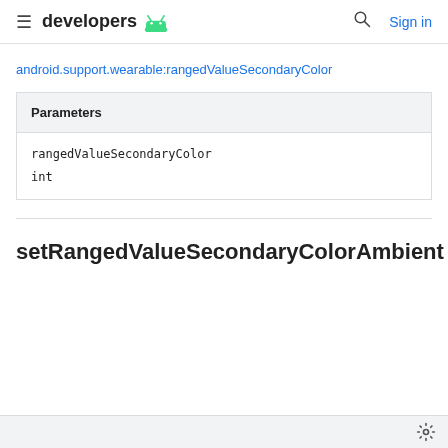developers [android logo]  [search]  Sign in
android.support.wearable:rangedValueSecondaryColor
| Parameters |
| --- |
| rangedValueSecondaryColor | int |
setRangedValueSecondaryColorAmbient